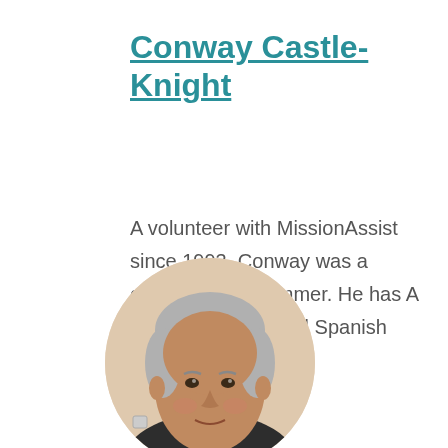Conway Castle-Knight
A volunteer with MissionAssist since 1993, Conway was a computer programmer. He has A levels in French and Spanish and...
[Figure (photo): Circular portrait photo of Conway Castle-Knight, an older man with short grey/white hair, smiling slightly, photographed indoors against a light beige wall.]